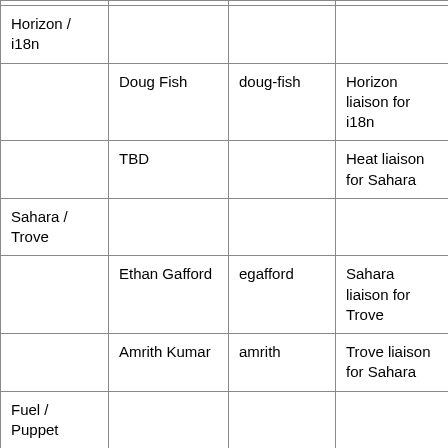|  |  |  |  |
| --- | --- | --- | --- |
| Horizon / i18n |  |  |  |
|  | Doug Fish | doug-fish | Horizon liaison for i18n |
|  | TBD |  | Heat liaison for Sahara |
| Sahara / Trove |  |  |  |
|  | Ethan Gafford | egafford | Sahara liaison for Trove |
|  | Amrith Kumar | amrith | Trove liaison for Sahara |
| Fuel / Puppet |  |  |  |
|  | Alex Schultz | mwhahaha | Fuel liaison for Puppet |
| Fuel / Ironic |  |  |  |
|  | Evgeny L... | evgenyl... | Fuel liaison for ... |